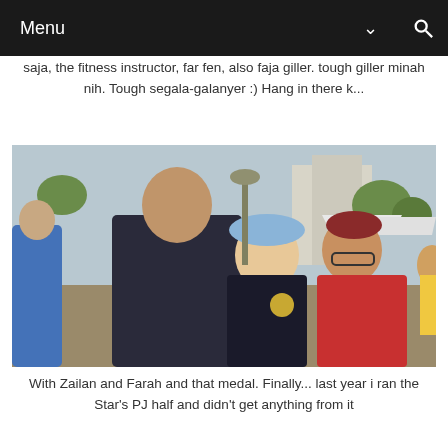Menu
saja, the fitness instructor, far fen, also faja giller. tough giller minah nih. Tough segala-galanyer :) Hang in there k...
[Figure (photo): Three people posing together at an outdoor running event. A man in a dark sleeveless shirt stands on the left, a woman in a light blue cap and race medal in the center, and a woman in a red polo shirt and dark cap with glasses on the right. Buildings and event tents visible in the background.]
With Zailan and Farah and that medal. Finally... last year i ran the Star's PJ half and didn't get anything from it